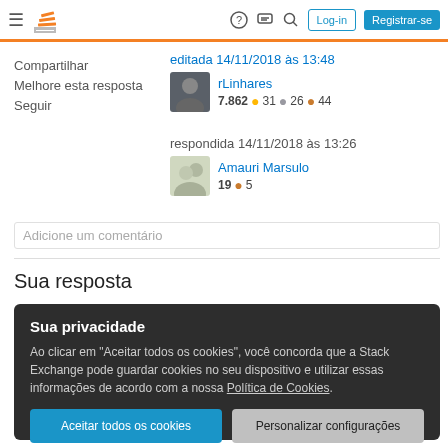Stack Overflow navigation bar with hamburger menu, logo, search, help, chat, login and register buttons
Compartilhar
Melhore esta resposta
Seguir
editada 14/11/2018 às 13:48
rLinhares 7.862 ● 31 ● 26 ● 44
respondida 14/11/2018 às 13:26
Amauri Marsulo 19 ● 5
Adicione um comentário
Sua resposta
Sua privacidade
Ao clicar em "Aceitar todos os cookies", você concorda que a Stack Exchange pode guardar cookies no seu dispositivo e utilizar essas informações de acordo com a nossa Política de Cookies.
Aceitar todos os cookies
Personalizar configurações